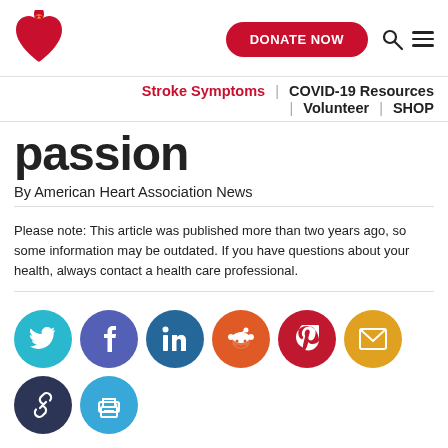[Figure (logo): American Heart Association logo - red heart with torch/flame]
DONATE NOW
Stroke Symptoms | COVID-19 Resources | Volunteer | SHOP
passion
By American Heart Association News
Please note: This article was published more than two years ago, so some information may be outdated. If you have questions about your health, always contact a health care professional.
[Figure (infographic): Social media share buttons: Twitter (teal), Facebook (purple), LinkedIn (dark teal), Reddit (orange), Pinterest (red), Email (yellow), Link (dark navy), Print (blue)]